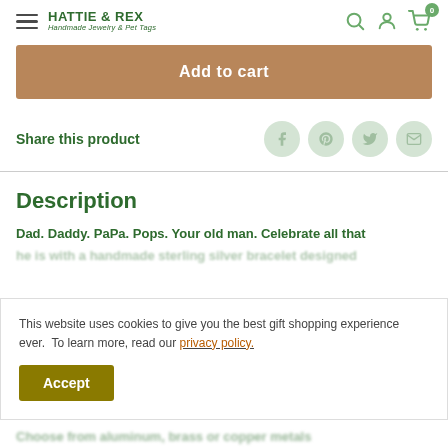HATTIE & REX — Handmade Jewelry & Pet Tags
Add to cart
Share this product
Description
Dad. Daddy. PaPa. Pops. Your old man. Celebrate all that
This website uses cookies to give you the best gift shopping experience ever.  To learn more, read our privacy policy.
Accept
Choose from aluminum, brass or copper metals